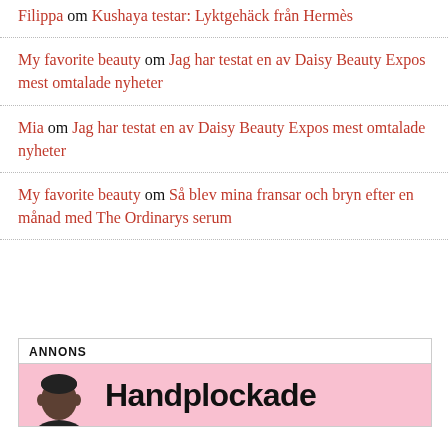Filippa om Kushaya testar: Lyktgehäck från Hermès
My favorite beauty om Jag har testat en av Daisy Beauty Expos mest omtalade nyheter
Mia om Jag har testat en av Daisy Beauty Expos mest omtalade nyheter
My favorite beauty om Så blev mina fransar och bryn efter en månad med The Ordinarys serum
[Figure (infographic): Annons banner with pink background showing a small illustrated head icon and the partial text 'Handplockade']